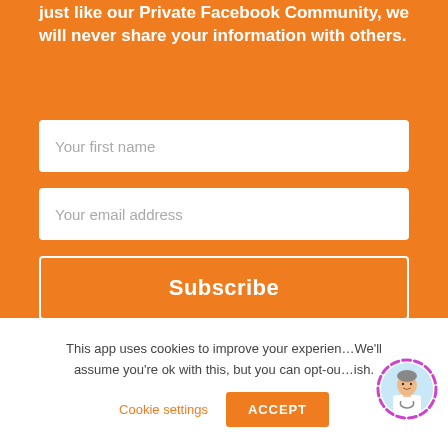Just like our Private Facebook Community, we will never share your information with others.
[Figure (screenshot): Email subscription form with fields for first name and email address, and a Subscribe button, on orange background]
This app uses cookies to improve your experience. We'll assume you're ok with this, but you can opt-out if you wish.
Cookie settings
ACCEPT
[Figure (photo): Circular avatar photo of a man with a purple/pink ring border]